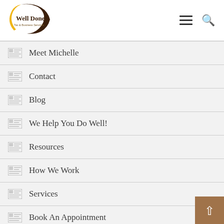[Figure (logo): Well Done Tax & Business Services logo — gold crescent curve with dark brown circular arc, text 'Well Done' in dark brown and 'Tax & Business Services' in smaller text]
Meet Michelle
Contact
Blog
We Help You Do Well!
Resources
How We Work
Services
Book An Appointment